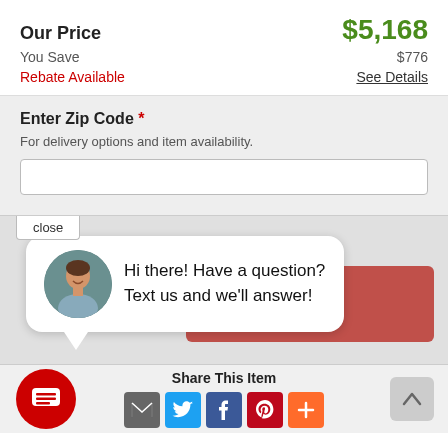Our Price  $5,168
You Save  $776
Rebate Available  See Details
Enter Zip Code *
For delivery options and item availability.
close
Hi there! Have a question? Text us and we'll answer!
Share This Item
[Figure (illustration): Social share icons: email, Twitter, Facebook, Pinterest, and a more (+) button]